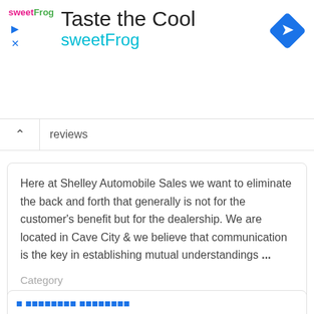[Figure (screenshot): SweetFrog advertisement banner with logo, 'Taste the Cool' title, 'sweetFrog' subtitle in cyan, and blue diamond navigation icon]
reviews
Here at Shelley Automobile Sales we want to eliminate the back and forth that generally is not for the customer's benefit but for the dealership. We are located in Cave City & we believe that communication is the key in establishing mutual understandings ...
Category
Kentucky
| Contact Name | Jessica Strong |
| Category | New Car Dealership |
...